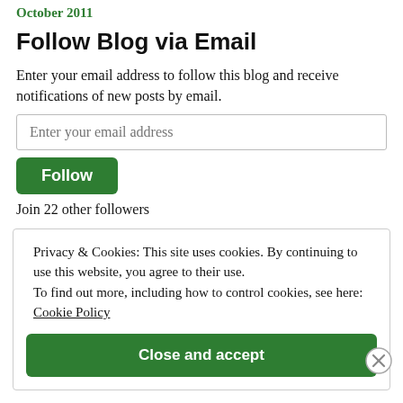October 2011
Follow Blog via Email
Enter your email address to follow this blog and receive notifications of new posts by email.
Join 22 other followers
Privacy & Cookies: This site uses cookies. By continuing to use this website, you agree to their use. To find out more, including how to control cookies, see here: Cookie Policy